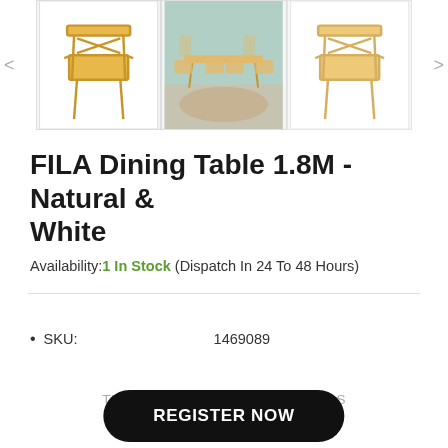[Figure (photo): Three product thumbnail images of a wooden dining chair/table in a horizontal row with navigation arrows on left and right.]
FILA Dining Table 1.8M - Natural & White
Availability: 1 In Stock (Dispatch In 24 To 48 Hours)
SKU: 1469089
TRADE & WHOLESALE CUSTOMERS MUST REGISTER TO VIEW PRICING
REGISTER NOW